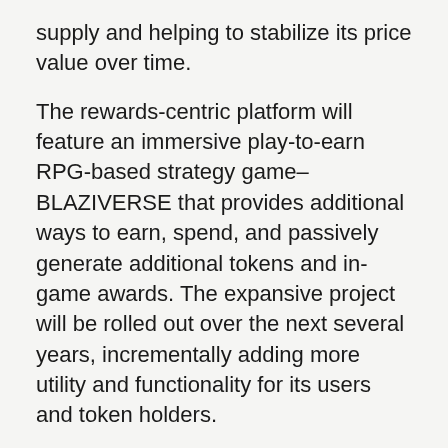supply and helping to stabilize its price value over time.
The rewards-centric platform will feature an immersive play-to-earn RPG-based strategy game–BLAZIVERSE that provides additional ways to earn, spend, and passively generate additional tokens and in-game awards. The expansive project will be rolled out over the next several years, incrementally adding more utility and functionality for its users and token holders.
Token Presale Phases
The $MBLZ token has a total fixed supply of 420,000,000,000 tokens, 5% of which will be offered during the presale. Participants in the